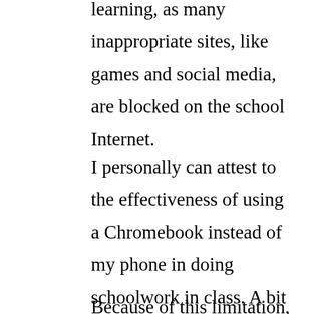learning, as many inappropriate sites, like games and social media, are blocked on the school Internet.
I personally can attest to the effectiveness of using a Chromebook instead of my phone in doing schoolwork in class. A bit bored with the lesson, I had attempted to play a game of 2048 on the Chromebook in class once during a lecture, only to find that it was blocked.
Because of this limitation, I instead chose